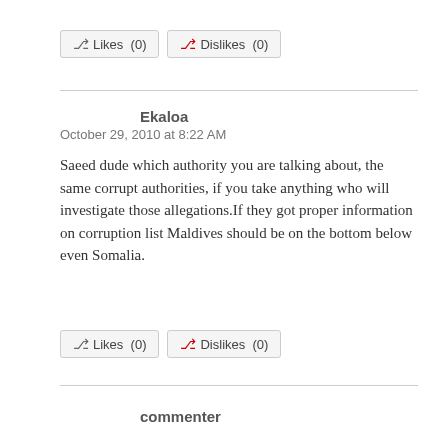[Figure (other): Likes (0) and Dislikes (0) buttons at top]
Ekaloa
October 29, 2010 at 8:22 AM
Saeed dude which authority you are talking about, the same corrupt authorities, if you take anything who will investigate those allegations.If they got proper information on corruption list Maldives should be on the bottom below even Somalia.
[Figure (other): Likes (0) and Dislikes (0) buttons at bottom]
commenter